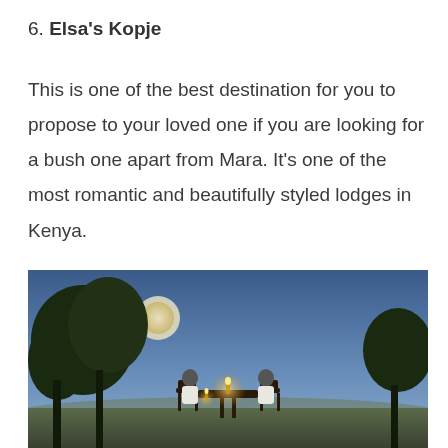6. Elsa's Kopje
This is one of the best destination for you to propose to your loved one if you are looking for a bush one apart from Mara. It’s one of the most romantic and beautifully styled lodges in Kenya.
[Figure (photo): A romantic outdoor dinner scene at dusk at Elsa's Kopje, with two people seated at a candlelit table on a rocky outcrop overlooking a vast savanna landscape, surrounded by trees silhouetted against a blue twilight sky.]